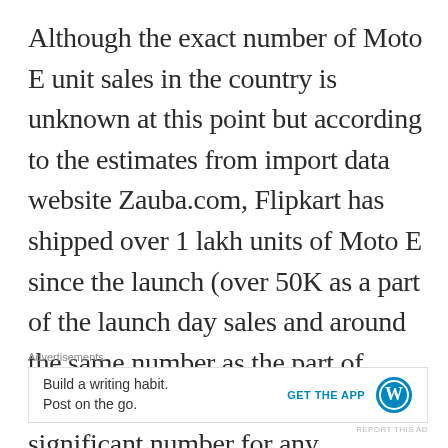Although the exact number of Moto E unit sales in the country is unknown at this point but according to the estimates from import data website Zauba.com, Flipkart has shipped over 1 lakh units of Moto E since the launch (over 50K as a part of the launch day sales and around the same number as the part of back-order sales). This is a pretty significant number for any smartphone to sell in just a matter of one week in India.
Advertisements
Build a writing habit.
Post on the go.
GET THE APP
REPORT THIS AD